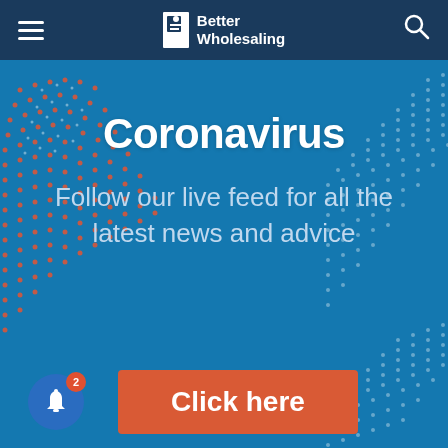Better Wholesaling
[Figure (screenshot): Coronavirus landing page banner for Better Wholesaling website. Blue background with red/orange dot pattern decorations on left and right sides. Large white bold text reads 'Coronavirus'. Below in lighter blue text: 'Follow our live feed for all the latest news and advice'. At the bottom left is a blue circular bell notification button with a red badge showing '2'. A coral/orange-red button says 'Click here'.]
Coronavirus
Follow our live feed for all the latest news and advice
Click here